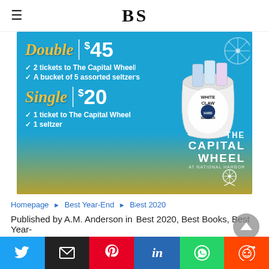BS
[Figure (infographic): Advertisement for The Capital Wheel and White Claw partnership. Blue/gold gradient background. Double package $45: 2 tickets to The Capital Wheel, a bucket of 5 assorted seltzers. Single package $20: 1 ticket to The Capital Wheel, 1 seltzer. White Claw bucket of cans on right side. The Capital Wheel logo bottom right with ferris wheel graphic.]
Homepage › Best Year-End › Best 2020
Published by A.M. Anderson in Best 2020, Best Books, Best Year-